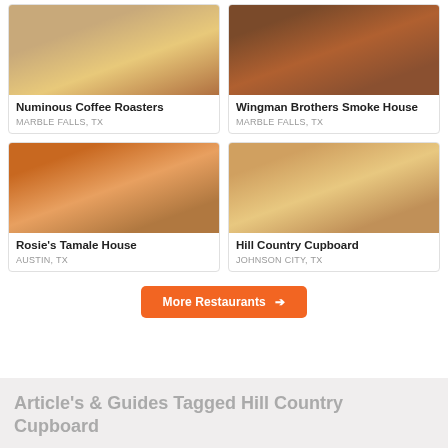[Figure (photo): Food photo for Numinous Coffee Roasters - sandwich on a plate]
Numinous Coffee Roasters
MARBLE FALLS, TX
[Figure (photo): Food photo for Wingman Brothers Smoke House - sliced BBQ brisket]
Wingman Brothers Smoke House
MARBLE FALLS, TX
[Figure (photo): Food photo for Rosie's Tamale House - tamale with beans]
Rosie's Tamale House
AUSTIN, TX
[Figure (photo): Food photo for Hill Country Cupboard - casserole dish with meatloaf]
Hill Country Cupboard
JOHNSON CITY, TX
More Restaurants →
Article's & Guides Tagged Hill Country Cupboard